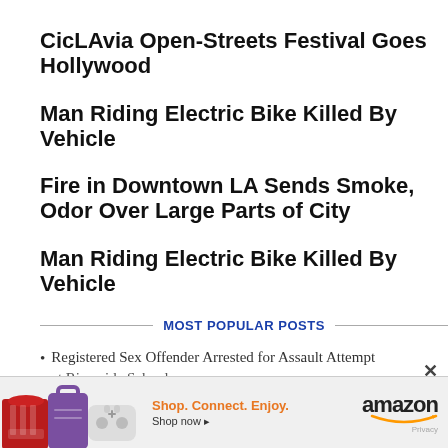CicLAvia Open-Streets Festival Goes Hollywood
Man Riding Electric Bike Killed By Vehicle
Fire in Downtown LA Sends Smoke, Odor Over Large Parts of City
Man Riding Electric Bike Killed By Vehicle
MOST POPULAR POSTS
Registered Sex Offender Arrested for Assault Attempt at Riverside School
[Figure (other): Amazon advertisement banner with product images (shoes, bag, gaming controller), tagline 'Shop. Connect. Enjoy.', 'Shop now' link, and Amazon logo with smile]